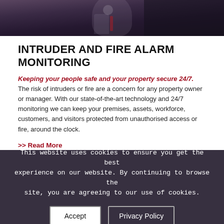[Figure (photo): Photograph of a person in professional attire, dark background, partially cropped]
INTRUDER AND FIRE ALARM MONITORING
Keeping your people safe and your property secure 24/7. The risk of intruders or fire are a concern for any property owner or manager. With our state-of-the-art technology and 24/7 monitoring we can keep your premises, assets, workforce, customers, and visitors protected from unauthorised access or fire, around the clock.
>> Read More
This website uses cookies to ensure you get the best experience on our website. By continuing to browse the site, you are agreeing to our use of cookies.